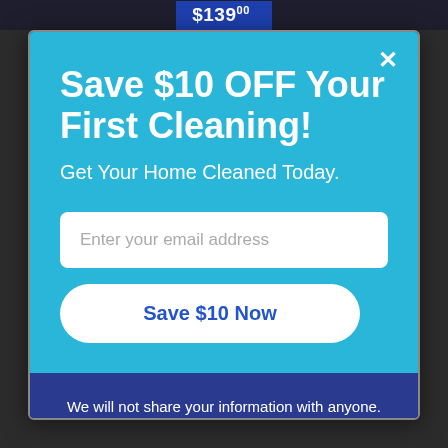$139.00
Save $10 OFF Your First Cleaning!
Get Your Home Cleaned Today.
Enter your email address
Save $10 Now
We will not share your information with anyone. Offer VALID for NEW customers ONLY. Cannot be combined with ANY OTHER PROMOTIONS OR OFFERS.